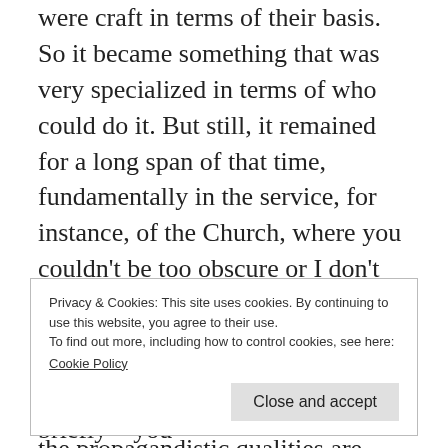were craft in terms of their basis. So it became something that was very specialized in terms of who could do it. But still, it remained for a long span of that time, fundamentally in the service, for instance, of the Church, where you couldn't be too obscure or I don't know, you get excommunicated for it. But you certainly would not be doing much good in terms of the propagandistic qualities and, well, the propagandistic qualities are really problematic. I
Privacy & Cookies: This site uses cookies. By continuing to use this website, you agree to their use.
To find out more, including how to control cookies, see here:
Cookie Policy
religious discourse here, but very briefly—you